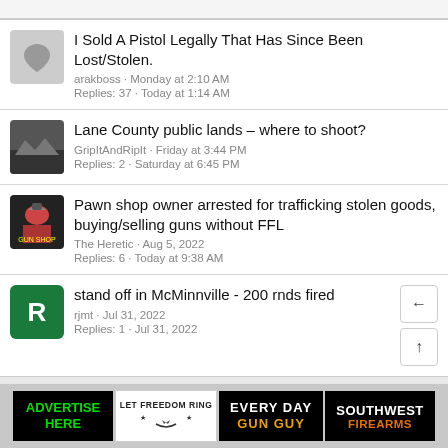I Sold A Pistol Legally That Has Since Been Lost/Stolen. — arakboss · Monday at 2:10 AM — Replies: 37 · Today at 1:14 AM
Lane County public lands – where to shoot? — GripItAndRipIt · Friday at 3:44 PM — Replies: 2 · Saturday at 6:45 PM
Pawn shop owner arrested for trafficking stolen goods, buying/selling guns without FFL — The Heretic · Aug 5, 2022 — Replies: 6 · Today at 9:38 AM
stand off in McMinnville - 200 rnds fired — rjmt · Jul 31, 2022 — Replies: 1 · Jul 31, 2022
[Figure (infographic): Advertisement bar with four ad blocks: ADVERTISE HERE (green on black), LET FREEDOM RING with eagle graphic (black on white), EVERY DAY GUN GUY (white/gold on black), SOUTHWEST FIREARMS (white/orange on black)]